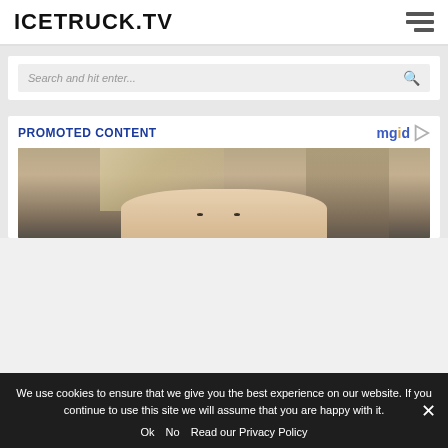ICETRUCK.TV
Search and hit enter...
PROMOTED CONTENT
[Figure (photo): Close-up photo of a woman with blonde bangs, eyes visible, from a promoted content advertisement]
We use cookies to ensure that we give you the best experience on our website. If you continue to use this site we will assume that you are happy with it. Ok No Read our Privacy Policy